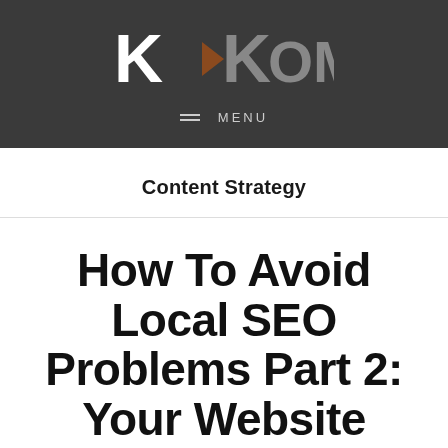K<KOM MENU
Content Strategy
How To Avoid Local SEO Problems Part 2: Your Website